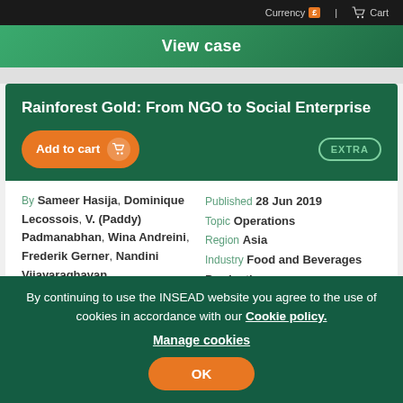Currency £  |  Cart
View case
Rainforest Gold: From NGO to Social Enterprise
By Sameer Hasija, Dominique Lecossois, V. (Paddy) Padmanabhan, Wina Andreini, Frederik Gerner, Nandini Vijayaraghavan
Reference 6485
Published 28 Jun 2019
Topic Operations
Region Asia
Industry Food and Beverages Production
The case focuses on the challenges facing Arenga Rainforest
By continuing to use the INSEAD website you agree to the use of cookies in accordance with our Cookie policy. Manage cookies OK